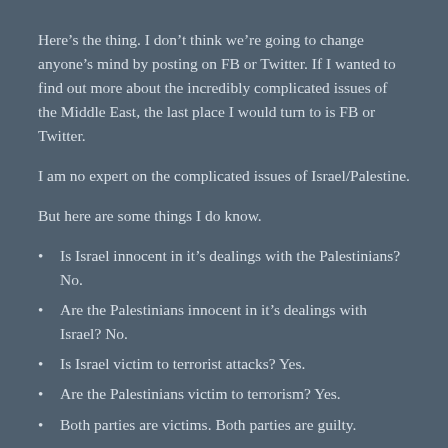Here’s the thing. I don’t think we’re going to change anyone’s mind by posting on FB or Twitter. If I wanted to find out more about the incredibly complicated issues of the Middle East, the last place I would turn to is FB or Twitter.
I am no expert on the complicated issues of Israel/Palestine.
But here are some things I do know.
Is Israel innocent in it’s dealings with the Palestinians? No.
Are the Palestinians innocent in it’s dealings with Israel? No.
Is Israel victim to terrorist attacks? Yes.
Are the Palestinians victim to terrorism? Yes.
Both parties are victims. Both parties are guilty.
The issue for me isn’t who’s right or wrong. I don’t think we’ll ever know.